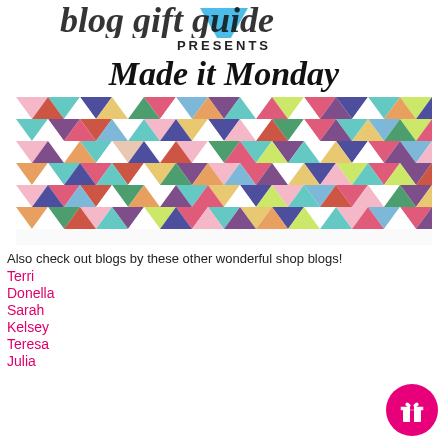[Figure (logo): Partial cursive logo text with blue heart shape, partially visible at top]
PRESENTS
Made it Monday
[Figure (illustration): Colorful geometric triangle pattern banner in multiple rows, triangles in pink, teal, purple, orange, green, cream colors]
Also check out blogs by these other wonderful shop blogs!
Terri
Donella
Sarah
Kelsey
Teresa
Julia